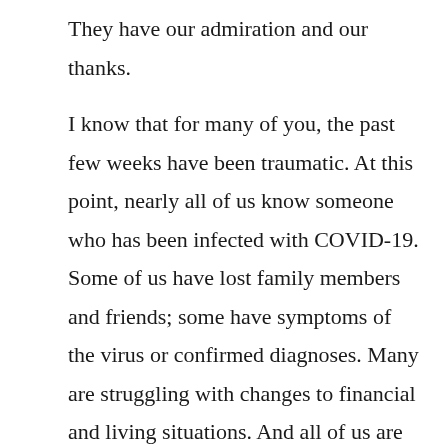They have our admiration and our thanks.

I know that for many of you, the past few weeks have been traumatic. At this point, nearly all of us know someone who has been infected with COVID-19. Some of us have lost family members and friends; some have symptoms of the virus or confirmed diagnoses. Many are struggling with changes to financial and living situations. And all of us are worried: about our loved ones, about the economic consequences of this pandemic, about what will come next. I want to in time…